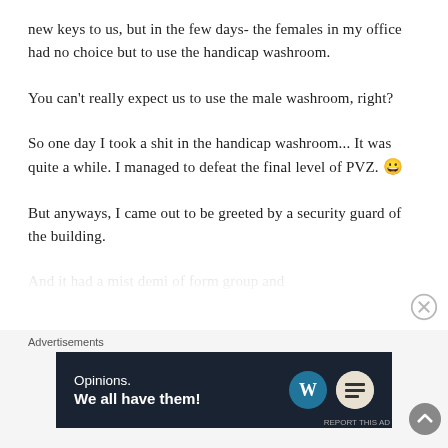new keys to us, but in the few days- the females in my office had no choice but to use the handicap washroom.
You can't really expect us to use the male washroom, right?
So one day I took a shit in the handicap washroom... It was quite a while. I managed to defeat the final level of PVZ. 😀
But anyways, I came out to be greeted by a security guard of the building.
And it had...
Advertisements
[Figure (other): Advertisement banner with dark navy background reading 'Opinions. We all have them!' with WordPress logo and another circular logo on the right.]